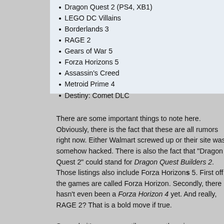Dragon Quest 2 (PS4, XB1)
LEGO DC Villains
Borderlands 3
RAGE 2
Gears of War 5
Forza Horizons 5
Assassin's Creed
Metroid Prime 4
Destiny: Comet DLC
There are some important things to note here. Obviously, there is the fact that these are all rumors right now. Either Walmart screwed up or their site was somehow hacked. There is also the fact that "Dragon Quest 2" could stand for Dragon Quest Builders 2. Those listings also include Forza Horizons 5. First off, the games are called Forza Horizon. Secondly, there hasn't even been a Forza Horizon 4 yet. And really, RAGE 2? That is a bold move if true.
So yeah, it's a rumor until proven otherwise.
I'd like to thank ResetERA for providing a list